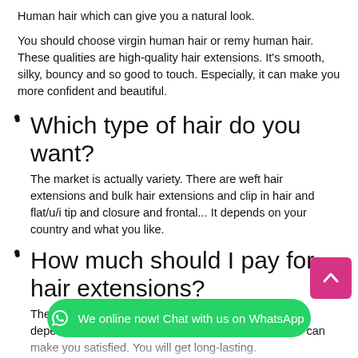Human hair which can give you a natural look.
You should choose virgin human hair or remy human hair. These qualities are high-quality hair extensions. It's smooth, silky, bouncy and so good to touch. Especially, it can make you more confident and beautiful.
Which type of hair do you want? The market is actually variety. There are weft hair extensions and bulk hair extensions and clip in hair and flat/u/i tip and closure and frontal... It depends on your country and what you like.
How much should I pay for hair extensions? The cost of hair extensions is not cheap at all. It also depends on the quality. If you choose human hair w... can make you satisfied. You will get long-lasting. If you buy human hair, it's perhaps that you have to pay a large money. But you will get long lasting and you will